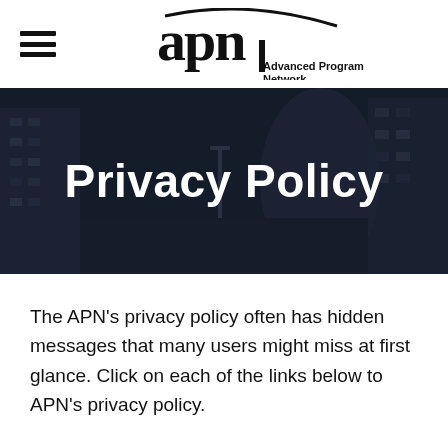[Figure (logo): APN Advanced Program Network logo with hamburger menu icon on the left]
Privacy Policy
The APN's privacy policy often has hidden messages that many users might miss at first glance. Click on each of the links below to APN's privacy policy.